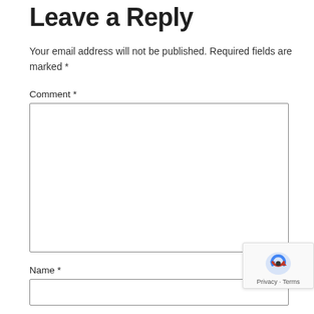Leave a Reply
Your email address will not be published. Required fields are marked *
Comment *
[Figure (screenshot): Large multi-line text input box for comment field]
Name *
[Figure (screenshot): Single-line text input box for name field]
[Figure (other): reCAPTCHA badge with logo and Privacy-Terms text]
Email *